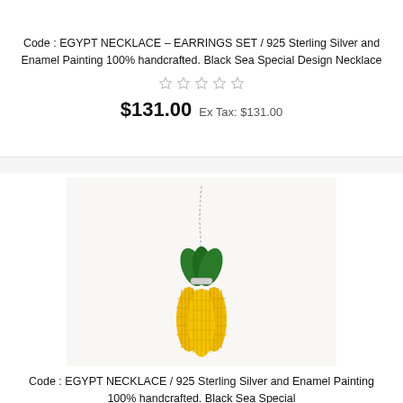Code : EGYPT NECKLACE – EARRINGS SET / 925 Sterling Silver and Enamel Painting 100% handcrafted. Black Sea Special Design Necklace
[Figure (other): Five empty star rating icons in a row]
$131.00  Ex Tax: $131.00
[Figure (photo): Photo of a corn-shaped pendant necklace on a silver chain. The pendant shows three corn cobs with yellow enamel bodies and green enamel leaves at the top.]
Code : EGYPT NECKLACE / 925 Sterling Silver and Enamel Painting 100% handcrafted. Black Sea Special